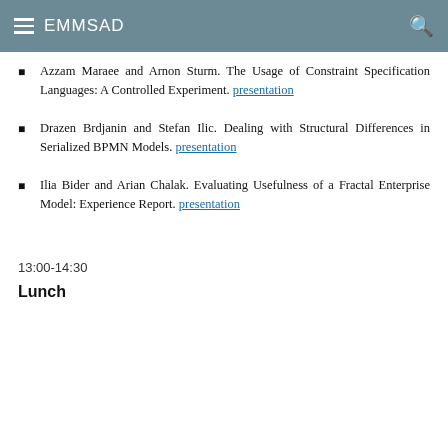EMMSAD
Azzam Maraee and Arnon Sturm. The Usage of Constraint Specification Languages: A Controlled Experiment. presentation
Drazen Brdjanin and Stefan Ilic. Dealing with Structural Differences in Serialized BPMN Models. presentation
Ilia Bider and Arian Chalak. Evaluating Usefulness of a Fractal Enterprise Model: Experience Report. presentation
13:00-14:30
Lunch